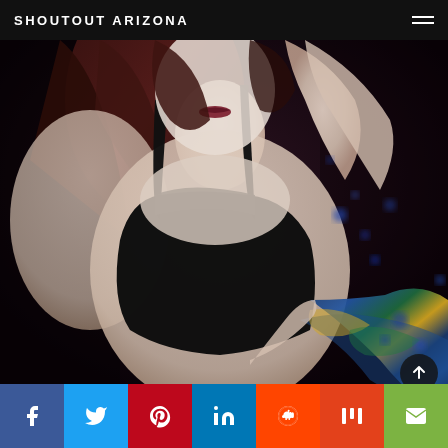SHOUTOUT ARIZONA
[Figure (photo): Fashion/art photography: a pale-skinned young woman with dark red hair and dark lipstick, wearing a black top and holding a colorful Van Gogh Starry Night print garment, posed against a very dark background with scattered blue bokeh petals.]
f (Facebook share) | Twitter share | Pinterest share | LinkedIn share | Reddit share | Mix share | Email share